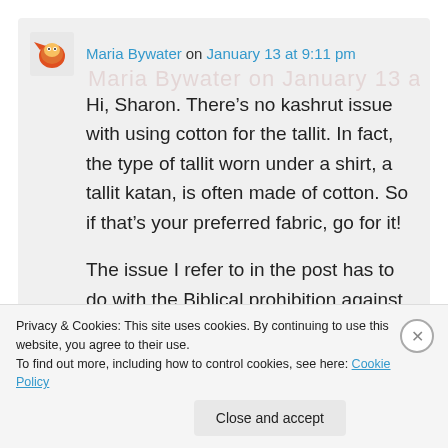Maria Bywater on January 13 at 9:11 pm
Hi, Sharon. There's no kashrut issue with using cotton for the tallit. In fact, the type of tallit worn under a shirt, a tallit katan, is often made of cotton. So if that's your preferred fabric, go for it!
The issue I refer to in the post has to do with the Biblical prohibition against
Privacy & Cookies: This site uses cookies. By continuing to use this website, you agree to their use.
To find out more, including how to control cookies, see here: Cookie Policy